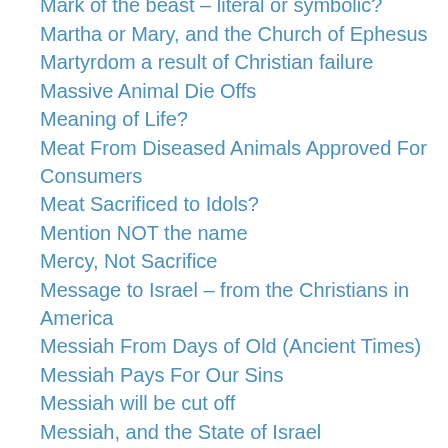Mark of the beast – literal or symbolic?
Martha or Mary, and the Church of Ephesus
Martyrdom a result of Christian failure
Massive Animal Die Offs
Meaning of Life?
Meat From Diseased Animals Approved For Consumers
Meat Sacrificed to Idols?
Mention NOT the name
Mercy, Not Sacrifice
Message to Israel – from the Christians in America
Messiah From Days of Old (Ancient Times)
Messiah Pays For Our Sins
Messiah will be cut off
Messiah, and the State of Israel
Metatron – the lesser YHVH
Methane Threat
Michael's Dream
Mid East Peace Deal will Curse America
Milk or Meat?
Missing God – Wrong Response